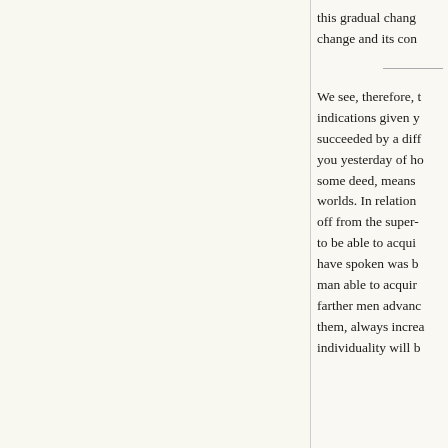this gradual chang… change and its con…
We see, therefore, t… indications given y… succeeded by a diff… you yesterday of ho… some deed, means … worlds. In relation … off from the super-… to be able to acqui… have spoken was b… man able to acquir… farther men advanc… them, always increa… individuality will b… ther…